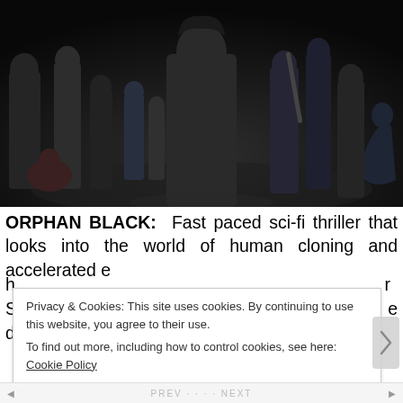[Figure (photo): Cast photo of TV show Orphan Black — multiple actors on a dark concrete-floor background. A woman in a black leather jacket and plaid shirt stands in the center foreground. Other characters are arranged behind and to the sides.]
ORPHAN BLACK: Fast paced sci-fi thriller that looks into the world of human cloning and accelerated evolution. Season 3 Episode 1…
Privacy & Cookies: This site uses cookies. By continuing to use this website, you agree to their use.
To find out more, including how to control cookies, see here: Cookie Policy
Close and accept